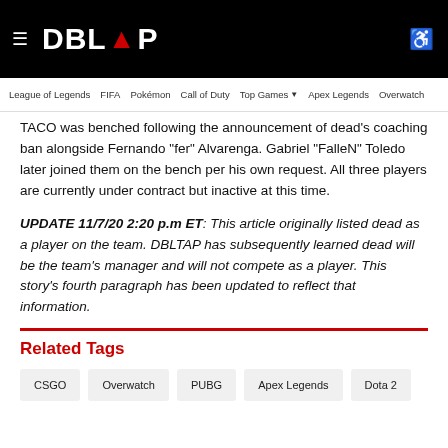≡ DBLTAP | League of Legends | FIFA | Pokémon | Call of Duty | Top Games ▾ | Apex Legends | Overwatch
TACO was benched following the announcement of dead's coaching ban alongside Fernando "fer" Alvarenga. Gabriel "FalleN" Toledo later joined them on the bench per his own request. All three players are currently under contract but inactive at this time.
UPDATE 11/7/20 2:20 p.m ET: This article originally listed dead as a player on the team. DBLTAP has subsequently learned dead will be the team's manager and will not compete as a player. This story's fourth paragraph has been updated to reflect that information.
Related Tags
CSGO
Overwatch
PUBG
Apex Legends
Dota 2